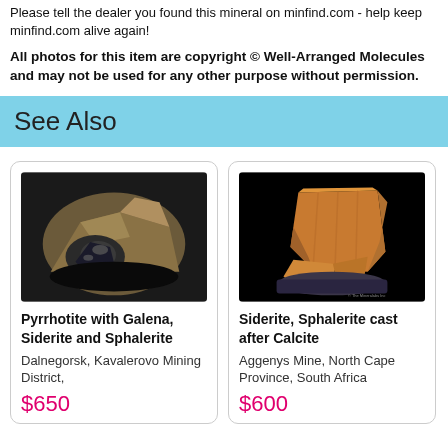Please tell the dealer you found this mineral on minfind.com - help keep minfind.com alive again!
All photos for this item are copyright © Well-Arranged Molecules and may not be used for any other purpose without permission.
See Also
[Figure (photo): Photo of Pyrrhotite with Galena, Siderite and Sphalerite mineral specimen on dark background]
Pyrrhotite with Galena, Siderite and Sphalerite
Dalnegorsk, Kavalerovo Mining District,
$650
[Figure (photo): Photo of Siderite, Sphalerite cast after Calcite mineral specimen on black background]
Siderite, Sphalerite cast after Calcite
Aggenys Mine, North Cape Province, South Africa
$600